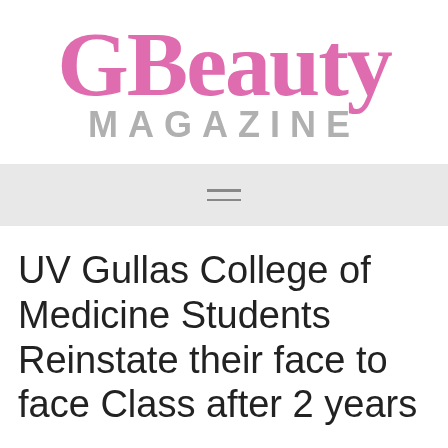[Figure (logo): GBeauty Magazine logo — 'GBeauty' in large pink serif text above 'MAGAZINE' in grey spaced sans-serif capitals]
[Figure (other): Navigation bar with hamburger menu icon (three horizontal lines) on a light grey background]
UV Gullas College of Medicine Students Reinstate their face to face Class after 2 years